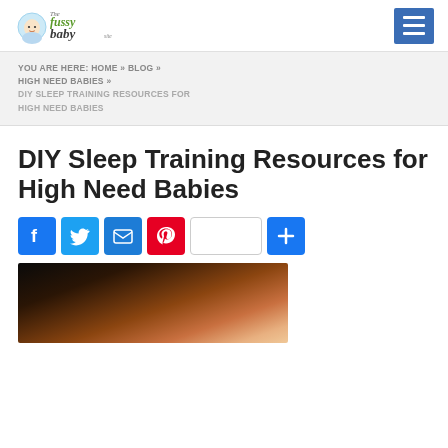[Figure (logo): The Fussy Baby Site logo with illustrated baby graphic]
YOU ARE HERE: HOME » BLOG » HIGH NEED BABIES » DIY SLEEP TRAINING RESOURCES FOR HIGH NEED BABIES
DIY Sleep Training Resources for High Need Babies
[Figure (infographic): Social sharing buttons: Facebook, Twitter, Email, Pinterest, Save, and More (+)]
[Figure (photo): Blurred photo of a red-haired woman with head in hands, appearing tired or stressed]